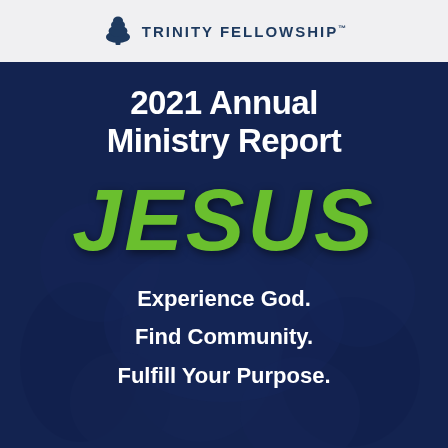TRINITY FELLOWSHIP
2021 Annual Ministry Report
JESUS
Experience God. Find Community. Fulfill Your Purpose.